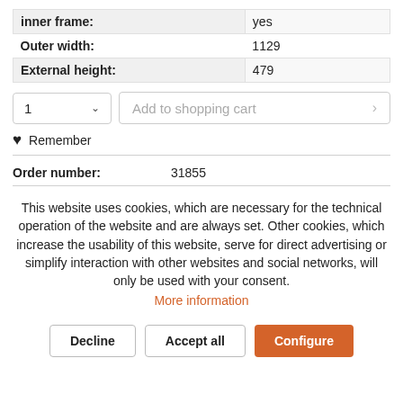| inner frame: | yes |
| Outer width: | 1129 |
| External height: | 479 |
[Figure (screenshot): Quantity dropdown showing '1' and 'Add to shopping cart' button]
Remember
Order number:    31855
This website uses cookies, which are necessary for the technical operation of the website and are always set. Other cookies, which increase the usability of this website, serve for direct advertising or simplify interaction with other websites and social networks, will only be used with your consent.
More information
Decline   Accept all   Configure